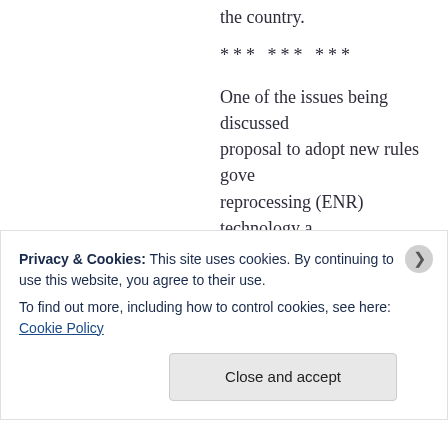the country.
*** *** ***
One of the issues being discussed proposal to adopt new rules governing reprocessing (ENR) technology and the Proliferation Treaty and NSG rules priority for several years now. At envisage separate restrictions. The safeguards as a condition for the and do not impose additional conditions. U.S. has advocated a complete interdiction technology to countries which did not members have always resisted.
Privacy & Cookies: This site uses cookies. By continuing to use this website, you agree to their use.
To find out more, including how to control cookies, see here: Cookie Policy